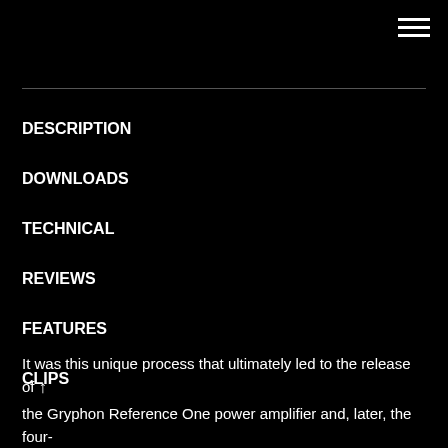[Figure (other): Hamburger menu icon (three horizontal lines) in top right corner]
DESCRIPTION
DOWNLOADS
TECHNICAL
REVIEWS
FEATURES
CLIPS
It was this unique process that ultimately led to the release of the Gryphon Reference One power amplifier and, later, the four-